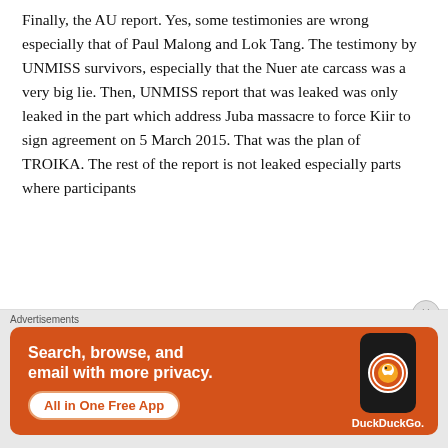Finally, the AU report. Yes, some testimonies are wrong especially that of Paul Malong and Lok Tang. The testimony by UNMISS survivors, especially that the Nuer ate carcass was a very big lie. Then, UNMISS report that was leaked was only leaked in the part which address Juba massacre to force Kiir to sign agreement on 5 March 2015. That was the plan of TROIKA. The rest of the report is not leaked especially parts where participants...
Advertisements
[Figure (infographic): DuckDuckGo advertisement banner with orange background showing text 'Search, browse, and email with more privacy.' and a button 'All in One Free App' alongside a phone mockup with DuckDuckGo logo and brand name.]